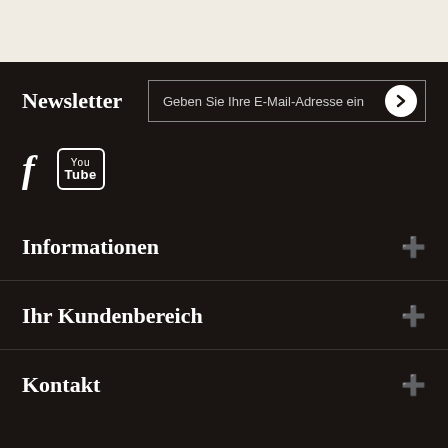Newsletter
Geben Sie Ihre E-Mail-Adresse ein
[Figure (other): Social media icons: Facebook (f) and YouTube logo]
Informationen
Ihr Kundenbereich
Kontakt